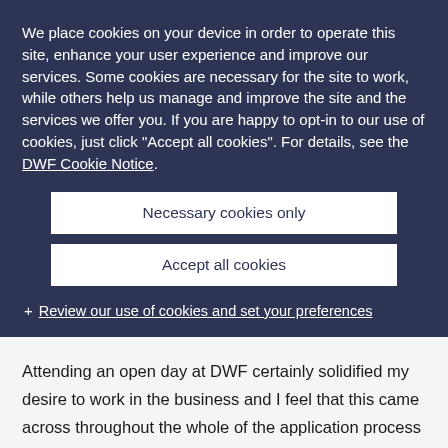We place cookies on your device in order to operate this site, enhance your user experience and improve our services. Some cookies are necessary for the site to work, while others help us manage and improve the site and the services we offer you. If you are happy to opt-in to our use of cookies, just click "Accept all cookies". For details, see the DWF Cookie Notice.
Necessary cookies only
Accept all cookies
+ Review our use of cookies and set your preferences
Attending an open day at DWF certainly solidified my desire to work in the business and I feel that this came across throughout the whole of the application process for the vacation scheme and training contract.